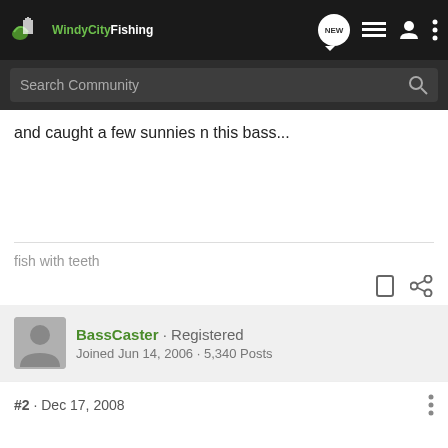Windy City Fishing - navigation bar with search
and caught a few sunnies n this bass...
fish with teeth
BassCaster · Registered
Joined Jun 14, 2006 · 5,340 Posts
#2 · Dec 17, 2008